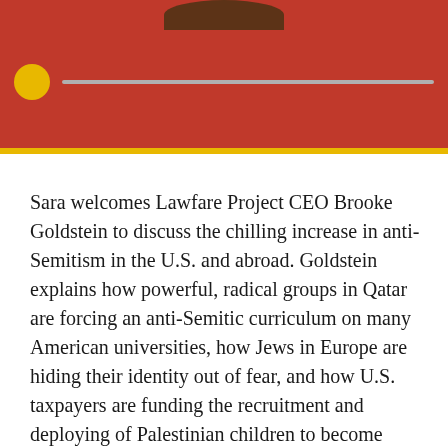[Figure (photo): Photo of a woman in a red top, partially visible, with a podcast-style progress bar overlay showing a yellow circular play button and gray track bar]
Sara welcomes Lawfare Project CEO Brooke Goldstein to discuss the chilling increase in anti-Semitism in the U.S. and abroad. Goldstein explains how powerful, radical groups in Qatar are forcing an anti-Semitic curriculum on many American universities, how Jews in Europe are hiding their identity out of fear, and how U.S. taxpayers are funding the recruitment and deploying of Palestinian children to become suicide bombers and child soldiers.